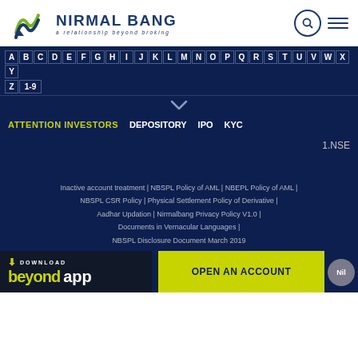[Figure (logo): Nirmal Bang logo with wave graphic and tagline 'a relationship beyond broking']
A B C D E F G H I J K L M N O P Q R S T U V W X Y Z 1-9
ATTENTION INVESTORS   DEPOSITORY   IPO   KYC
1.NSE
Inactive account treatment | NBSPL Policy of AML | NBEPL Policy of AML | NBSPL CSR Policy | Physical Settlement Policy of Derivative | Aadhar Updation | Nirmalbang Privacy Policy V1.0 | Documents in Vernacular Languages | NBSPL Disclosure Document March 2019
DOWNLOAD beyond app
OPEN AN ACCOUNT